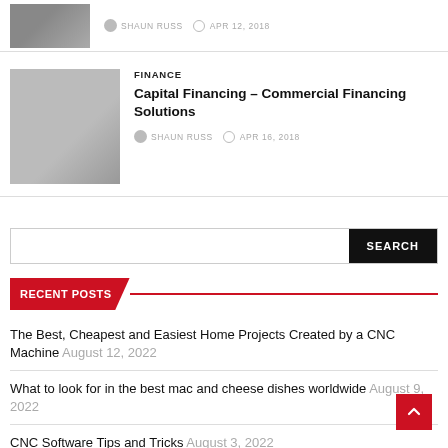[Figure (photo): Thumbnail photo for article, top article card]
SHAUN RUSS  APR 12, 2018
[Figure (photo): Office scene with people shaking hands, finance article thumbnail]
FINANCE
Capital Financing – Commercial Financing Solutions
SHAUN RUSS  APR 16, 2018
SEARCH
RECENT POSTS
The Best, Cheapest and Easiest Home Projects Created by a CNC Machine August 12, 2022
What to look for in the best mac and cheese dishes worldwide August 9, 2022
CNC Software Tips and Tricks August 3, 2022